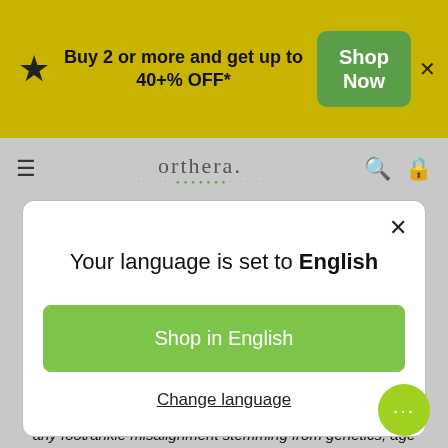Buy 2 or more and get up to 40+% OFF*
Shop Now
[Figure (screenshot): orthera logo with dotted underline decoration]
Your language is set to English
Shop in English
Change language
Discomfort in the mid- and upper body can originate in your feet. As your feet are the foundation of your body, any foot/ankle misalignment stemming from genetics, age